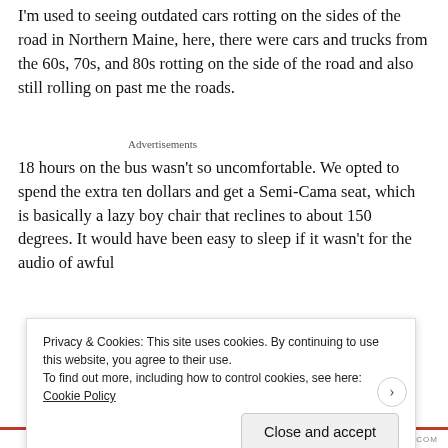I'm used to seeing outdated cars rotting on the sides of the road in Northern Maine, here, there were cars and trucks from the 60s, 70s, and 80s rotting on the side of the road and also still rolling on past me the roads.
Advertisements
18 hours on the bus wasn't so uncomfortable. We opted to spend the extra ten dollars and get a Semi-Cama seat, which is basically a lazy boy chair that reclines to about 150 degrees. It would have been easy to sleep if it wasn't for the audio of awful
Privacy & Cookies: This site uses cookies. By continuing to use this website, you agree to their use.
To find out more, including how to control cookies, see here: Cookie Policy